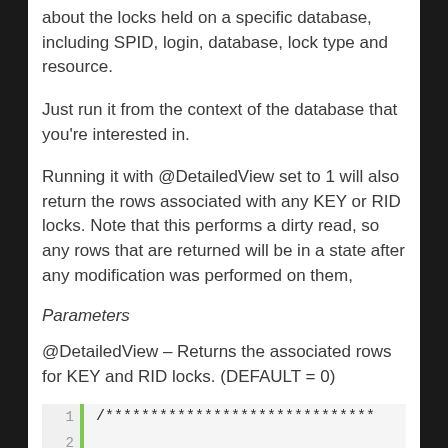about the locks held on a specific database, including SPID, login, database, lock type and resource.
Just run it from the context of the database that you're interested in.
Running it with @DetailedView set to 1 will also return the rows associated with any KEY or RID locks. Note that this performs a dirty read, so any rows that are returned will be in a state after any modification was performed on them,
Parameters
@DetailedView – Returns the associated rows for KEY and RID locks. (DEFAULT = 0)
[Figure (screenshot): Code block showing lines 1-3 with a green vertical bar indicator. Line 1: /******************************, Line 2: (empty), Line 3: Author: David Fowler]